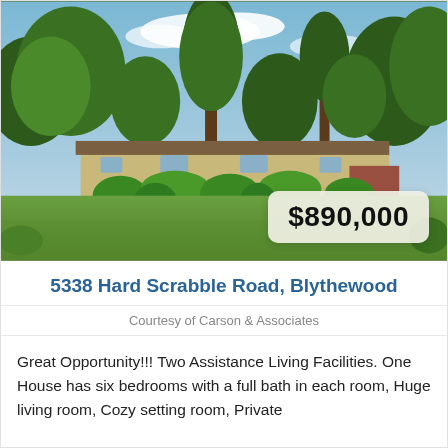[Figure (photo): Exterior photo of a ranch-style house with large green lawn, surrounded by tall trees and manicured shrubs under a partly cloudy sky. A price badge showing $890,000 is overlaid in the bottom-right corner.]
5338 Hard Scrabble Road, Blythewood
Courtesy of Carson & Associates
Great Opportunity!!! Two Assistance Living Facilities. One House has six bedrooms with a full bath in each room, Huge living room, Cozy setting room, Private